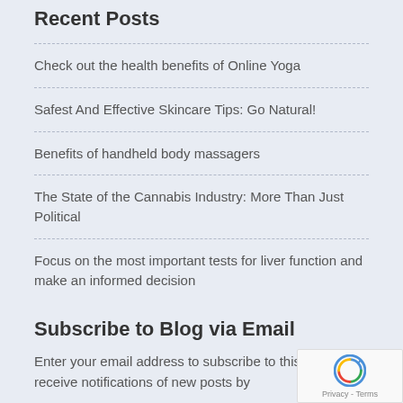Recent Posts
Check out the health benefits of Online Yoga
Safest And Effective Skincare Tips: Go Natural!
Benefits of handheld body massagers
The State of the Cannabis Industry: More Than Just Political
Focus on the most important tests for liver function and make an informed decision
Subscribe to Blog via Email
Enter your email address to subscribe to this blog and receive notifications of new posts by